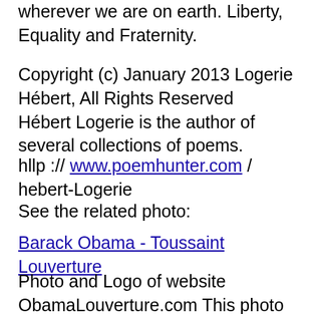wherever we are on earth. Liberty, Equality and Fraternity.
Copyright (c) January 2013 Logerie Hébert, All Rights Reserved
Hébert Logerie is the author of several collections of poems.
hllp :// www.poemhunter.com / hebert-Logerie
See the related photo:
Barack Obama - Toussaint Louverture
Photo and Logo of website ObamaLouverture.com This photo shows U.S. President Barack Obama with Haitian Revolutionary... more